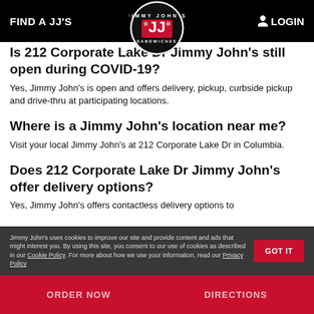FIND A JJ'S | LOGIN
Is 212 Corporate Lake Dr Jimmy John's still open during COVID-19?
Yes, Jimmy John's is open and offers delivery, pickup, curbside pickup and drive-thru at participating locations.
Where is a Jimmy John's location near me?
Visit your local Jimmy John's at 212 Corporate Lake Dr in Columbia.
Does 212 Corporate Lake Dr Jimmy John's offer delivery options?
Yes, Jimmy John's offers contactless delivery options to
Jimmy John's uses cookies to improve our site and provide content and ads that might interest you. By using this site, you consent to our use of cookies as described in our Cookie Policy. For more about how we use your information, read our Privacy Policy
ORDER NOW   DIRECTIONS